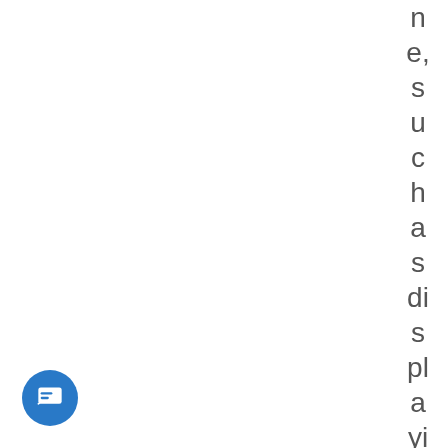ne, such as displaying ani
[Figure (other): Blue circular chat/message button with white message icon, positioned at bottom-left]